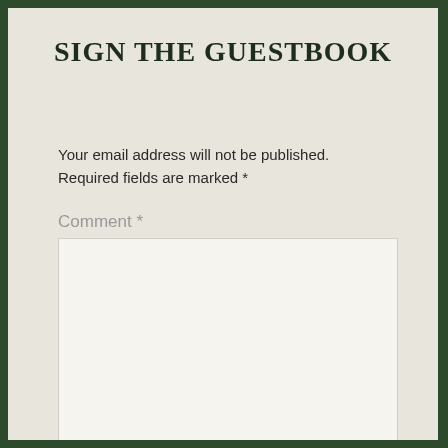SIGN THE GUESTBOOK
Your email address will not be published. Required fields are marked *
Comment *
Name *